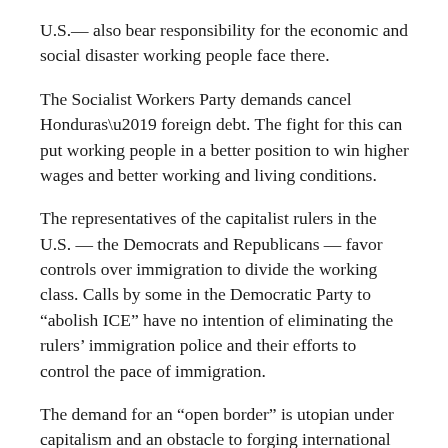U.S.— also bear responsibility for the economic and social disaster working people face there.
The Socialist Workers Party demands cancel Honduras' foreign debt. The fight for this can put working people in a better position to win higher wages and better working and living conditions.
The representatives of the capitalist rulers in the U.S. — the Democrats and Republicans — favor controls over immigration to divide the working class. Calls by some in the Democratic Party to “abolish ICE” have no intention of eliminating the rulers’ immigration police and their efforts to control the pace of immigration.
The demand for an “open border” is utopian under capitalism and an obstacle to forging international solidarity in struggle among working people.
The Socialist Workers Party candidates fight for the labor movement to demand amnesty for the 11 million immigrant